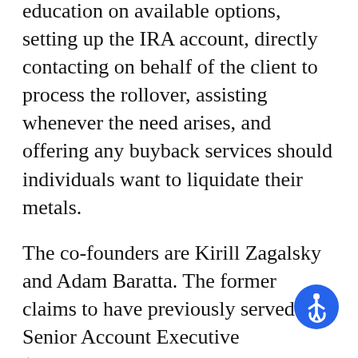education on available options, setting up the IRA account, directly contacting on behalf of the client to process the rollover, assisting whenever the need arises, and offering any buyback services should individuals want to liquidate their metals.
The co-founders are Kirill Zagalsky and Adam Baratta. The former claims to have previously served as a Senior Account Executive (specializing in precious metal IRA accounts) at a national U.S. Mint-listed dealer. The latter worked a similar role and prided himself on working closely with every client to best achieve long-term metals investment goals. Did we mention that he also happens to be a two times national bestselling financial author and self-made millionaire investor?
We decided to scroll through the official website, and
[Figure (illustration): Blue circular accessibility icon (wheelchair user symbol) positioned at bottom right]